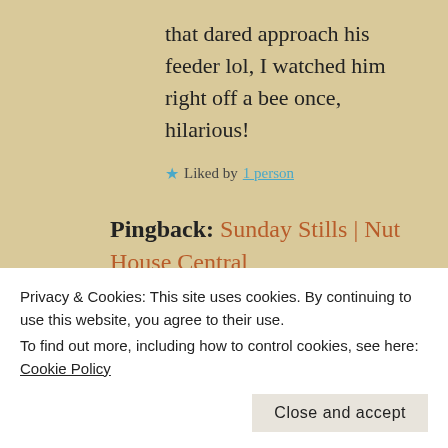that dared approach his feeder lol, I watched him right off a bee once, hilarious!
★ Liked by 1 person
Pingback: Sunday Stills | Nut House Central
[Figure (photo): Avatar image of a small animal, possibly a squirrel or chipmunk]
dharkanein
Privacy & Cookies: This site uses cookies. By continuing to use this website, you agree to their use.
To find out more, including how to control cookies, see here: Cookie Policy
Close and accept